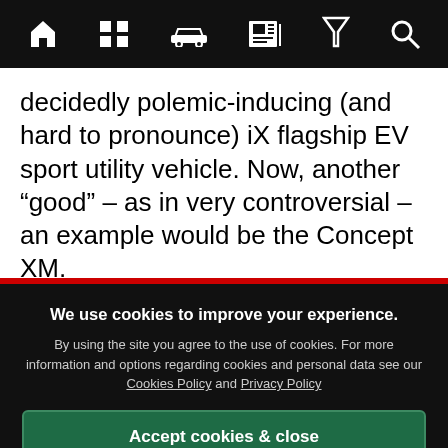[Navigation bar with icons: home, grid, car, news, filter, search]
decidedly polemic-inducing (and hard to pronounce) iX flagship EV sport utility vehicle. Now, another “good” – as in very controversial – an example would be the Concept XM.
Perhaps BMW saw what Tesla attempted to do with its own iX, Cybertruck and decided to follo…
We use cookies to improve your experience. By using the site you agree to the use of cookies. For more information and options regarding cookies and personal data see our Cookies Policy and Privacy Policy
Accept cookies & close
California residents: Do Not Sell My Info